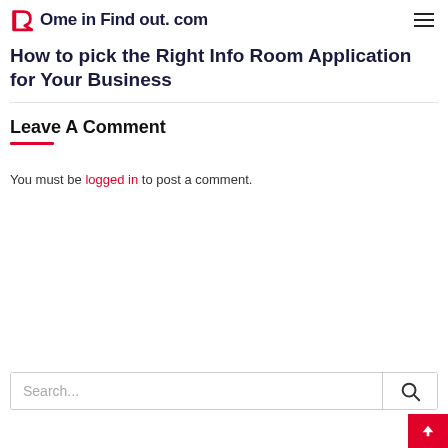Ome in Find out. com
How to pick the Right Info Room Application for Your Business
Leave A Comment
You must be logged in to post a comment.